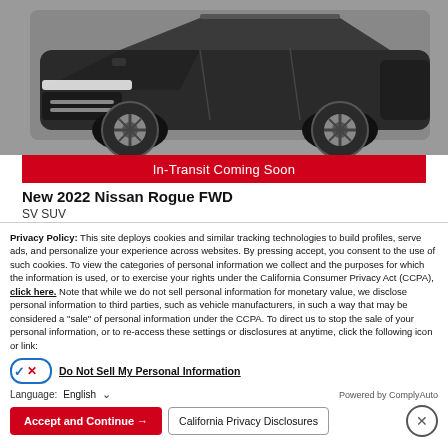[Figure (photo): Front view of a black 2022 Nissan Rogue SUV on a gray background]
In-Transit Coming Soon
New 2022 Nissan Rogue FWD
SV SUV
Privacy Policy: This site deploys cookies and similar tracking technologies to build profiles, serve ads, and personalize your experience across websites. By pressing accept, you consent to the use of such cookies. To view the categories of personal information we collect and the purposes for which the information is used, or to exercise your rights under the California Consumer Privacy Act (CCPA), click here. Note that while we do not sell personal information for monetary value, we disclose personal information to third parties, such as vehicle manufacturers, in such a way that may be considered a "sale" of personal information under the CCPA. To direct us to stop the sale of your personal information, or to re-access these settings or disclosures at anytime, click the following icon or link:
Do Not Sell My Personal Information
Language: English
Powered by ComplyAuto
Accept and Continue →
California Privacy Disclosures